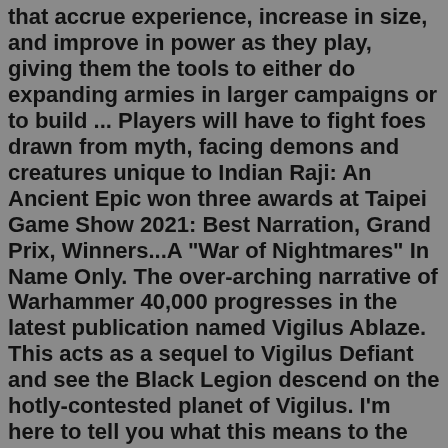that accrue experience, increase in size, and improve in power as they play, giving them the tools to either do expanding armies in larger campaigns or to build ... Players will have to fight foes drawn from myth, facing demons and creatures unique to Indian Raji: An Ancient Epic won three awards at Taipei Game Show 2021: Best Narration, Grand Prix, Winners...A "War of Nightmares" In Name Only. The over-arching narrative of Warhammer 40,000 progresses in the latest publication named Vigilus Ablaze. This acts as a sequel to Vigilus Defiant and see the Black Legion descend on the hotly-contested planet of Vigilus. I'm here to tell you what this means to the universe and whether Vigilus Ablaze is ... Is wahapedia legal ? I know this is a weird question but i just want to know if wahapedia is legal because i really love it for the fact i can have all the codex's and rules without buying the books but at...This Flash game is currently not playable in your browser, but we're working on a fix! Come back regularly to see if it's ready to play. Most browsers no longer support